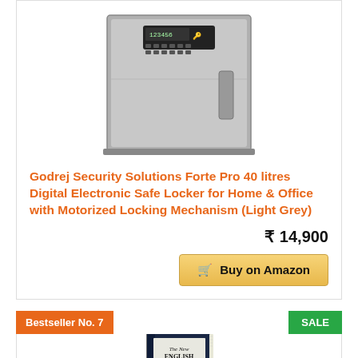[Figure (photo): Photo of a grey digital electronic safe locker with keypad on front]
Godrej Security Solutions Forte Pro 40 litres Digital Electronic Safe Locker for Home & Office with Motorized Locking Mechanism (Light Grey)
₹ 14,900
Buy on Amazon
Bestseller No. 7
SALE
[Figure (photo): Photo of a book-shaped safe/locker resembling The New English Dictionary]